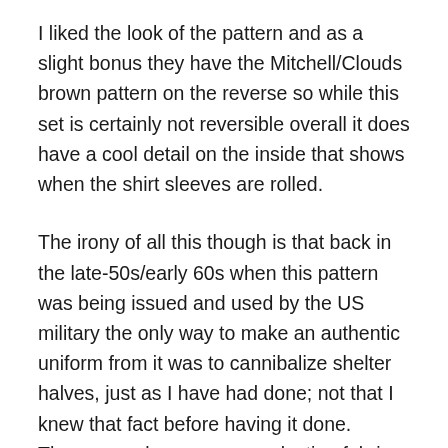I liked the look of the pattern and as a slight bonus they have the Mitchell/Clouds brown pattern on the reverse so while this set is certainly not reversible overall it does have a cool detail on the inside that shows when the shirt sleeves are rolled.
The irony of all this though is that back in the late-50s/early 60s when this pattern was being issued and used by the US military the only way to make an authentic uniform from it was to cannibalize shelter halves, just as I have had done; not that I knew that fact before having it done.  There was also some reproduction fabric made at the time in SE Asia and subsequently used for uniforms, but again, that was unlicensed and not something conducted or sanctioned by the DoD.  I think this adds a very interesting and cool